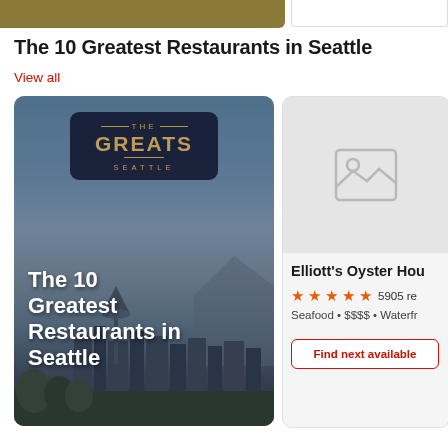[Figure (photo): Top banner strip showing partial gold/olive colored image on the left and a white box on the right]
The 10 Greatest Restaurants in Seattle
View all
[Figure (photo): Card image showing Seattle skyline with Space Needle under blue sky, overlaid with 'The Greats Seattle' dark badge logo at top, and bold white text reading 'The 10 Greatest Restaurants in Seattle' in the lower portion]
[Figure (photo): Right card showing grey placeholder image icon for restaurant photo]
Elliott's Oyster Hou
5905 re
Seafood • $$$$ • Waterfr
Find next available